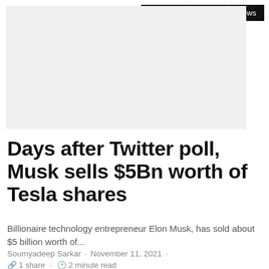Business | Global | News
[Figure (other): Advertisement placeholder box, light gray background]
Days after Twitter poll, Musk sells $5Bn worth of Tesla shares
Billionaire technology entrepreneur Elon Musk, has sold about $5 billion worth of...
Soumyadeep Sarkar · November 11, 2021 ·
🔗 1 share · 🕐 2 minute read